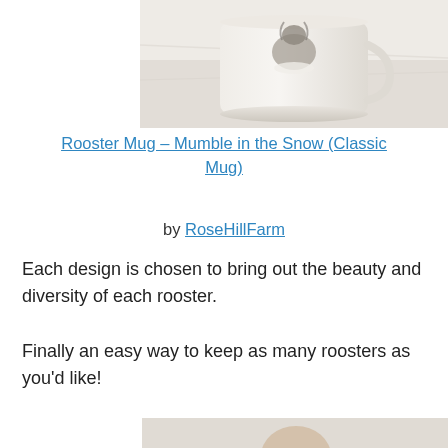[Figure (photo): Photo of a rooster mug (ceramic mug with rooster design in snow) on a light marble/white surface, partially cropped at top]
Rooster Mug – Mumble in the Snow (Classic Mug)
by RoseHillFarm
Each design is chosen to bring out the beauty and diversity of each rooster.
Finally an easy way to keep as many roosters as you'd like!
[Figure (photo): Bottom of page shows top of another photo — appears to show a person, partially cropped]